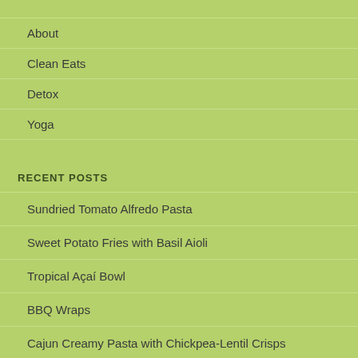About
Clean Eats
Detox
Yoga
RECENT POSTS
Sundried Tomato Alfredo Pasta
Sweet Potato Fries with Basil Aioli
Tropical Açaí Bowl
BBQ Wraps
Cajun Creamy Pasta with Chickpea-Lentil Crisps